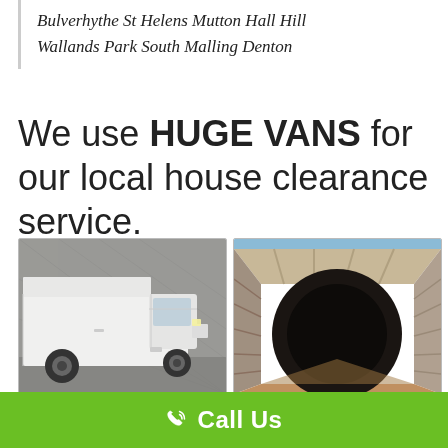Bulverhythe St Helens Mutton Hall Hill Wallands Park South Malling Denton
We use HUGE VANS for our local house clearance service.
[Figure (photo): White large panel van (box truck) parked against a concrete wall exterior]
[Figure (photo): Interior of a large empty van/lorry showing the loading area with wooden floor and metal panelled walls]
Call Us